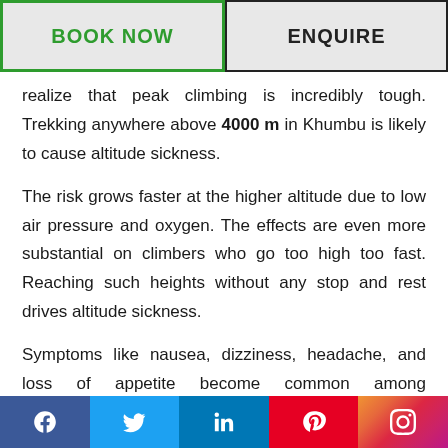BOOK NOW | ENQUIRE
realize that peak climbing is incredibly tough. Trekking anywhere above 4000 m in Khumbu is likely to cause altitude sickness.
The risk grows faster at the higher altitude due to low air pressure and oxygen. The effects are even more substantial on climbers who go too high too fast. Reaching such heights without any stop and rest drives altitude sickness.
Symptoms like nausea, dizziness, headache, and loss of appetite become common among mountaineers. In some cases, they even
Social media links: Facebook, Twitter, LinkedIn, Pinterest, Instagram